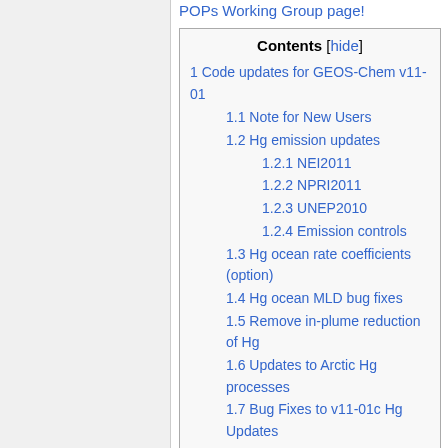POPs Working Group page!
Contents [hide]
1 Code updates for GEOS-Chem v11-01
1.1 Note for New Users
1.2 Hg emission updates
1.2.1 NEI2011
1.2.2 NPRI2011
1.2.3 UNEP2010
1.2.4 Emission controls
1.3 Hg ocean rate coefficients (option)
1.4 Hg ocean MLD bug fixes
1.5 Remove in-plume reduction of Hg
1.6 Updates to Arctic Hg processes
1.7 Bug Fixes to v11-01c Hg Updates
1.7.1 Incorrect Arctic Hg Riverflow
1.7.2 Module-level Variables